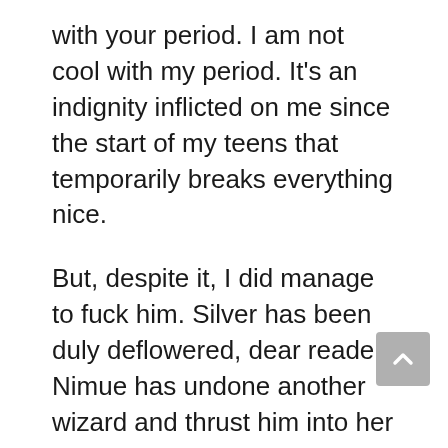with your period. I am not cool with my period. It’s an indignity inflicted on me since the start of my teens that temporarily breaks everything nice.
But, despite it, I did manage to fuck him. Silver has been duly deflowered, dear reader. Nimue has undone another wizard and thrust him into her yew tree. It actually wasn’t quite according to a set plan. I was just intending, that night, on teasing him, wrapped in an easy on/easy off blue latex hoodie dress, when apparently my mind fucking drove him to make the request right there and then.
It was the evening of the first full day of my visit. When I arrived, there was often...